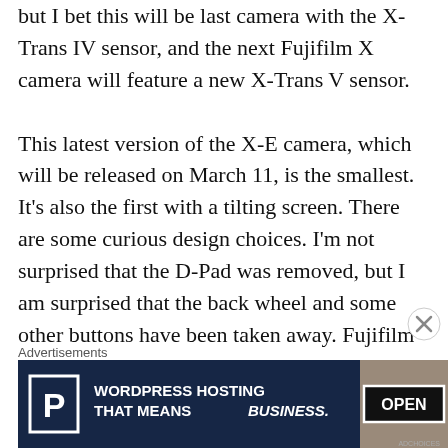but I bet this will be last camera with the X-Trans IV sensor, and the next Fujifilm X camera will feature a new X-Trans V sensor.

This latest version of the X-E camera, which will be released on March 11, is the smallest. It's also the first with a tilting screen. There are some curious design choices. I'm not surprised that the D-Pad was removed, but I am surprised that the back wheel and some other buttons have been taken away. Fujifilm really embraced a minimalist camera back, which I suppose fits a philosophy that helps to separate this camera from the X-T30 and X-
Advertisements
[Figure (other): Advertisement banner for WordPress Hosting with 'P' logo icon on dark navy background and text 'WORDPRESS HOSTING THAT MEANS BUSINESS.' alongside an image of an OPEN sign.]